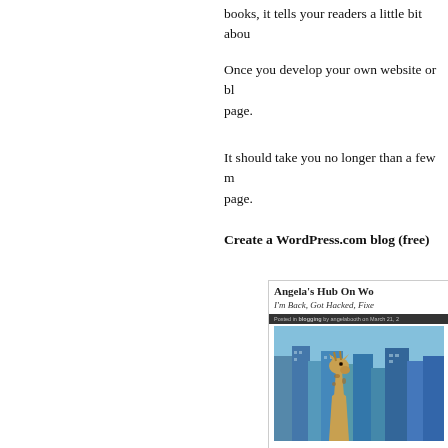books, it tells your readers a little bit abou
Once you develop your own website or bl page.
It should take you no longer than a few m page.
Create a WordPress.com blog (free)
[Figure (screenshot): Screenshot of Angela's Hub On Wo... blog showing post 'I'm Back, Got Hacked, Fixe...' with a photo of a giraffe in front of city skyline with blue buildings]